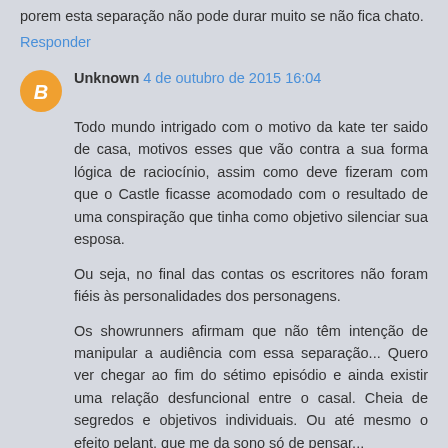porem esta separação não pode durar muito se não fica chato.
Responder
Unknown 4 de outubro de 2015 16:04
Todo mundo intrigado com o motivo da kate ter saido de casa, motivos esses que vão contra a sua forma lógica de raciocínio, assim como deve fizeram com que o Castle ficasse acomodado com o resultado de uma conspiração que tinha como objetivo silenciar sua esposa.
Ou seja, no final das contas os escritores não foram fiéis às personalidades dos personagens.
Os showrunners afirmam que não têm intenção de manipular a audiência com essa separação... Quero ver chegar ao fim do sétimo episódio e ainda existir uma relação desfuncional entre o casal. Cheia de segredos e objetivos individuais. Ou até mesmo o efeito pelant, que me da sono só de pensar...